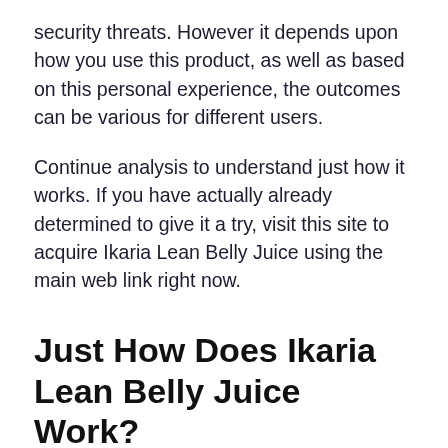security threats. However it depends upon how you use this product, as well as based on this personal experience, the outcomes can be various for different users.
Continue analysis to understand just how it works. If you have actually already determined to give it a try, visit this site to acquire Ikaria Lean Belly Juice using the main web link right now.
Just How Does Ikaria Lean Belly Juice Work?
Ikaria Lean Belly Juice complies with an one-of-a-kind approach to burning stubborn fat, which no